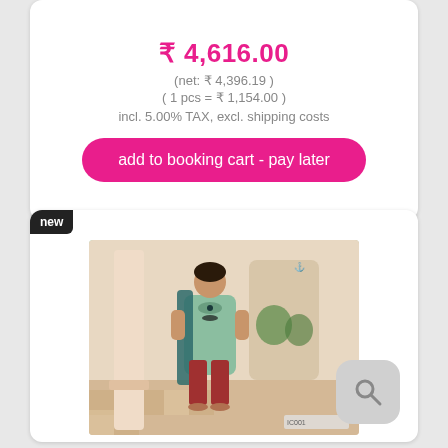₹ 4,616.00
(net: ₹ 4,396.19 )
( 1 pcs = ₹ 1,154.00 )
incl. 5.00% TAX, excl. shipping costs
add to booking cart - pay later
[Figure (photo): Fashion product photo of a woman wearing a green kurti/salwar suit with teal dupatta and red pants, standing in an arched corridor with marble columns. A brand logo is visible in the upper right of the image. A search/zoom icon button appears in the lower right of the card.]